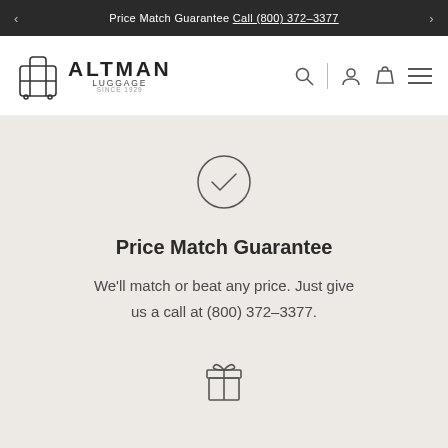Price Match Guarantee Call (800) 372-3377
[Figure (logo): Altman Luggage logo — suitcase icon with ALTMAN LUGGAGE SINCE 1929 text]
[Figure (other): Checkmark inside a circle icon]
Price Match Guarantee
We'll match or beat any price. Just give us a call at (800) 372-3377.
[Figure (other): Gift box icon]